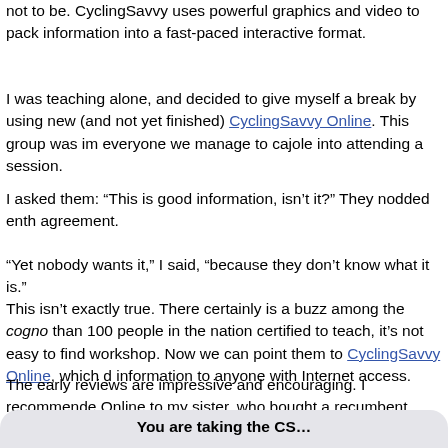not to be. CyclingSavvy uses powerful graphics and video to pack information into a fast-paced interactive format.
I was teaching alone, and decided to give myself a break by using new (and not yet finished) CyclingSavvy Online. This group was im everyone we manage to cajole into attending a session.
I asked them: “This is good information, isn’t it?” They nodded enth agreement.
“Yet nobody wants it,” I said, “because they don’t know what it is.”
This isn’t exactly true. There certainly is a buzz among the cognoscenti. With fewer than 100 people in the nation certified to teach, it’s not easy to find a workshop. Now we can point them to CyclingSavvy Online, which delivers information to anyone with Internet access.
The early reviews are impressive and encouraging. I recommended Online to my sister, who bought a recumbent tricycle this summer.
Wednesday 8:02 PM
You are taking the CS…